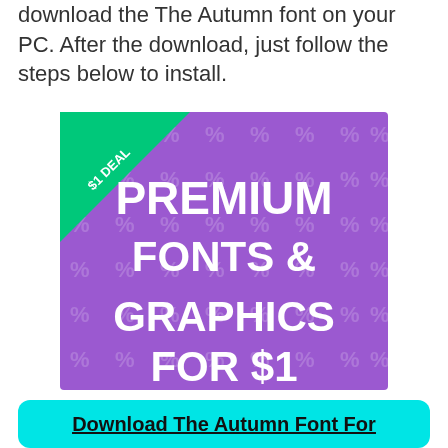download the The Autumn font on your PC. After the download, just follow the steps below to install.
[Figure (illustration): Purple advertisement banner with percentage sign watermark pattern. Green corner triangle badge saying '$1 DEAL'. White bold text reading 'PREMIUM FONTS & GRAPHICS FOR $1']
Download The Autumn Font For